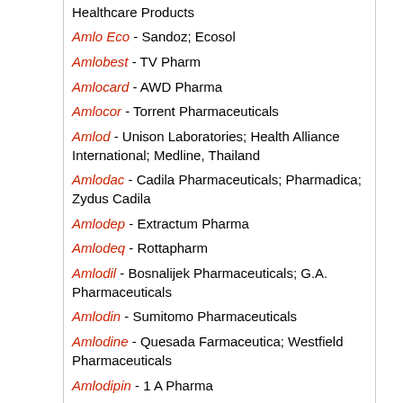Healthcare Products
Amlo Eco - Sandoz; Ecosol
Amlobest - TV Pharm
Amlocard - AWD Pharma
Amlocor - Torrent Pharmaceuticals
Amlod - Unison Laboratories; Health Alliance International; Medline, Thailand
Amlodac - Cadila Pharmaceuticals; Pharmadica; Zydus Cadila
Amlodep - Extractum Pharma
Amlodeq - Rottapharm
Amlodil - Bosnalijek Pharmaceuticals; G.A. Pharmaceuticals
Amlodin - Sumitomo Pharmaceuticals
Amlodine - Quesada Farmaceutica; Westfield Pharmaceuticals
Amlodipin - 1 A Pharma
Amlodipin - Acino Pharma
Amlodipin - Actavis